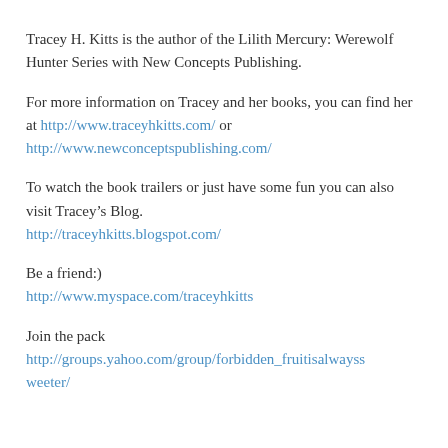Tracey H. Kitts is the author of the Lilith Mercury: Werewolf Hunter Series with New Concepts Publishing.
For more information on Tracey and her books, you can find her at http://www.traceyhkitts.com/ or http://www.newconceptspublishing.com/
To watch the book trailers or just have some fun you can also visit Tracey’s Blog.
http://traceyhkitts.blogspot.com/
Be a friend:)
http://www.myspace.com/traceyhkitts
Join the pack
http://groups.yahoo.com/group/forbidden_fruitisalwayssweeter/